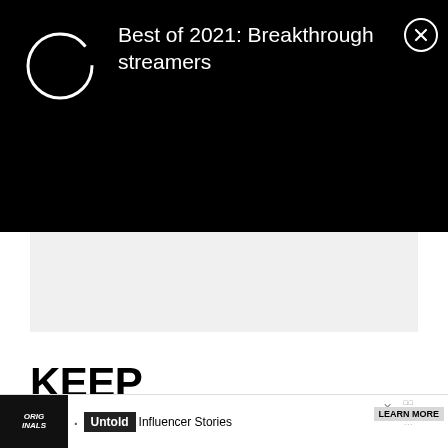[Figure (screenshot): Black notification banner with a circular loading/profile icon on the left, text 'Best of 2021: Breakthrough streamers' in white, and a circled X close button on the right.]
[Figure (other): Gray placeholder rectangle below the black banner.]
KEEP READING
GAMING
Wizards of the Coast apologizes for “offensive”
[Figure (illustration): Fantasy artwork showing monkey-like characters in colorful illustrated style.]
[Figure (screenshot): Advertisement banner at the bottom: Originals logo, bullet, Untold Influencer Stories, Learn More button with close X.]